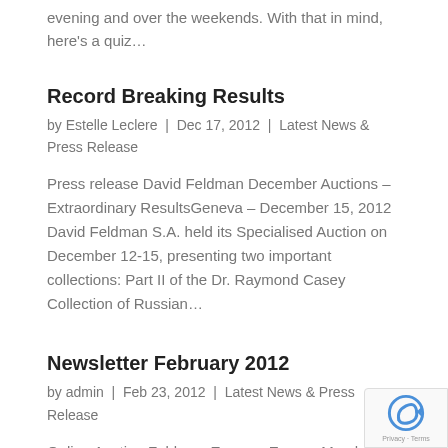evening and over the weekends.  With that in mind, here's a quiz…
Record Breaking Results
by Estelle Leclere  |  Dec 17, 2012  |  Latest News & Press Release
Press release David Feldman December Auctions – Extraordinary ResultsGeneva – December 15, 2012 David Feldman S.A. held its Specialised Auction on December 12-15, presenting two important collections: Part II of the Dr. Raymond Casey Collection of Russian…
Newsletter February 2012
by admin  |  Feb 23, 2012  |  Latest News & Press Release
Online Auction Feldman Express Europe March 20